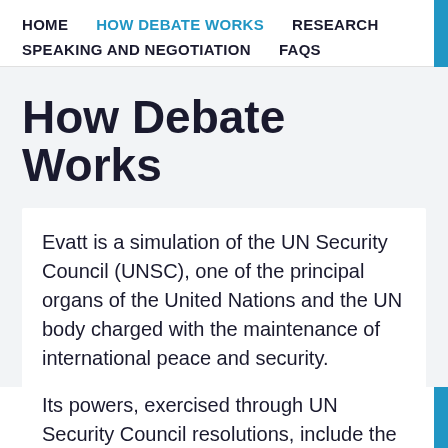HOME  HOW DEBATE WORKS  RESEARCH  SPEAKING AND NEGOTIATION  FAQS
How Debate Works
Evatt is a simulation of the UN Security Council (UNSC), one of the principal organs of the United Nations and the UN body charged with the maintenance of international peace and security.
Its powers, exercised through UN Security Council resolutions, include the establishment of peacekeeping operations, the establishment of